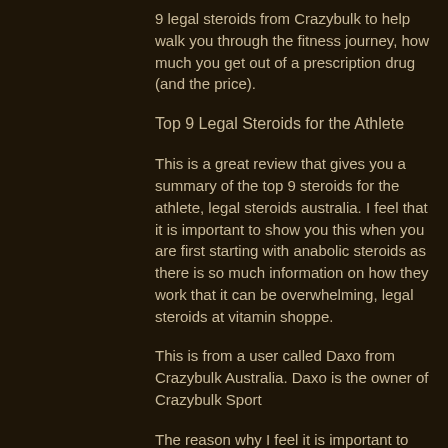9 legal steroids from Crazybulk to help walk you through the fitness journey, how much you get out of a prescription drug (and the price).
Top 9 Legal Steroids for the Athlete
This is a great review that gives you a summary of the top 9 steroids for the athlete, legal steroids australia. I feel that it is important to show you this when you are first starting with anabolic steroids as there is so much information on how they work that it can be overwhelming, legal steroids at vitamin shoppe.
This is from a user called Daxo from Crazybulk Australia. Daxo is the owner of Crazybulk Sport
The reason why I feel it is important to show you the most valuable information about...